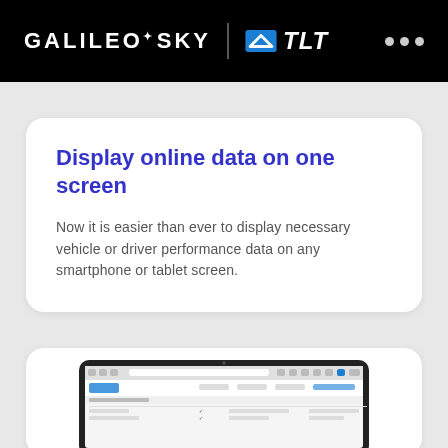GALILEOSKY | TLT
Display online data on one screen
Now it is easier than ever to display necessary vehicle or driver performance data on any smartphone or tablet screen.
[Figure (screenshot): A tablet device displaying a web application interface, shown partially cut off at the bottom of the page.]